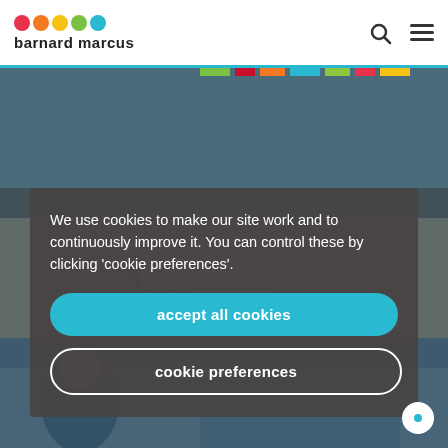barnard marcus
[Figure (photo): Close-up photo of hands writing on paper with a pen]
We use cookies to make our site work and to continuously improve it. You can control these by clicking ‘cookie preferences’.
accept all cookies
cookie preferences
[Figure (photo): Partial background photo of people in office/meeting setting]